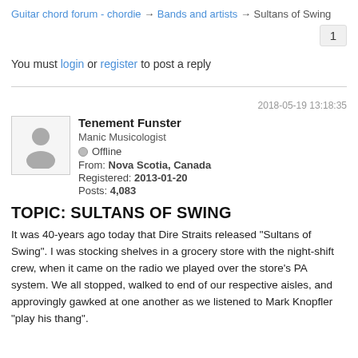Guitar chord forum - chordie → Bands and artists → Sultans of Swing
1
You must login or register to post a reply
2018-05-19 13:18:35
Tenement Funster
Manic Musicologist
Offline
From: Nova Scotia, Canada
Registered: 2013-01-20
Posts: 4,083
TOPIC: SULTANS OF SWING
It was 40-years ago today that Dire Straits released "Sultans of Swing". I was stocking shelves in a grocery store with the night-shift crew, when it came on the radio we played over the store's PA system. We all stopped, walked to end of our respective aisles, and approvingly gawked at one another as we listened to Mark Knopfler "play his thang".